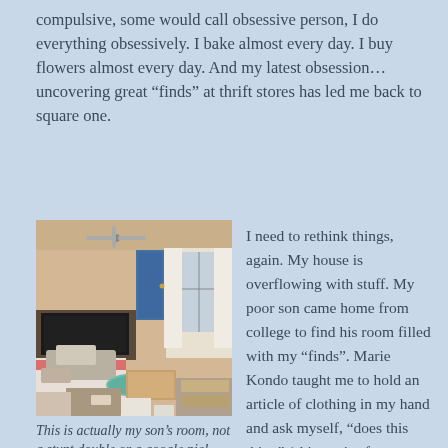compulsive, some would call obsessive person, I do everything obsessively.  I bake almost every day.  I buy flowers almost every day.  And my latest obsession… uncovering great “finds” at thrift stores has led me back to square one.
[Figure (photo): A very cluttered, messy room filled with piles of stuff, clothes, boxes, furniture — a living room/bedroom area overflowing with items.]
This is actually my son’s room, not a stunt double or a google pic!
I need to rethink things, again.  My house is overflowing with stuff.  My poor son came home from college to find his room filled with my “finds”.  Marie Kondo taught me to hold an article of clothing in my hand and ask myself, “does this thing” (shirt, pair of pants, painting, small dresser – yikes!) spark joy for me?